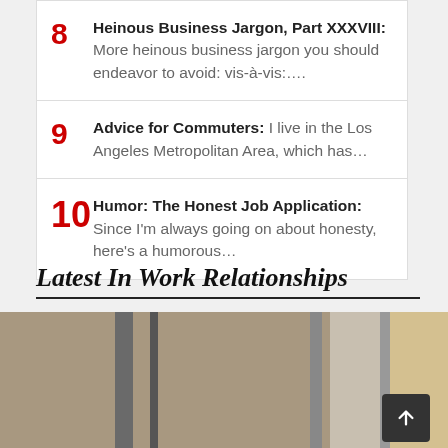8 Heinous Business Jargon, Part XXXVIII: More heinous business jargon you should endeavor to avoid: vis-à-vis:….
9 Advice for Commuters: I live in the Los Angeles Metropolitan Area, which has…
10 Humor: The Honest Job Application: Since I'm always going on about honesty, here's a humorous…
Latest In Work Relationships
[Figure (photo): A woman with dark hair in a business jacket rubbing her eyes or face, appearing stressed, photographed through vertical poles or dividers in an office setting.]